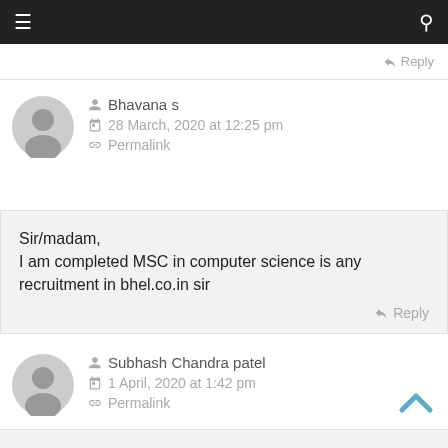Navigation bar with menu and search icons
Reply
Bhavana s
28 March, 2020 at 12:25 pm
Permalink
Sir/madam,
I am completed MSC in computer science is any recruitment in bhel.co.in sir
Reply
Subhash Chandra patel
1 April, 2020 at 1:42 pm
Permalink